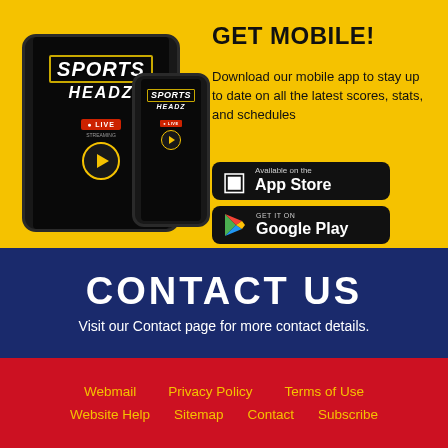[Figure (illustration): Sports Headz branded tablet and phone showing the Sports Headz app with Live Streaming feature, displayed on a yellow background]
GET MOBILE!
Download our mobile app to stay up to date on all the latest scores, stats, and schedules
[Figure (logo): Available on the App Store button (black rounded rectangle)]
[Figure (logo): GET IT ON Google Play button (black rounded rectangle)]
CONTACT US
Visit our Contact page for more contact details.
Webmail
Privacy Policy
Terms of Use
Website Help
Sitemap
Contact
Subscribe